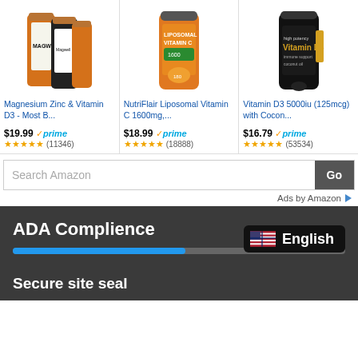[Figure (photo): Magwell Magnesium Zinc & Vitamin D3 supplement bottles]
Magnesium Zinc & Vitamin D3 - Most B...
$19.99 ✓prime ★★★★★ (11346)
[Figure (photo): NutriFlair Liposomal Vitamin C 1600mg orange bottle]
NutriFlair Liposomal Vitamin C 1600mg,...
$18.99 ✓prime ★★★★★ (18888)
[Figure (photo): Vitamin D3 5000iu with Coconut Oil black bottle]
Vitamin D3 5000iu (125mcg) with Cocon...
$16.79 ✓prime ★★★★★ (53534)
Search Amazon
Go
Ads by Amazon
ADA Complience
English
Secure site seal